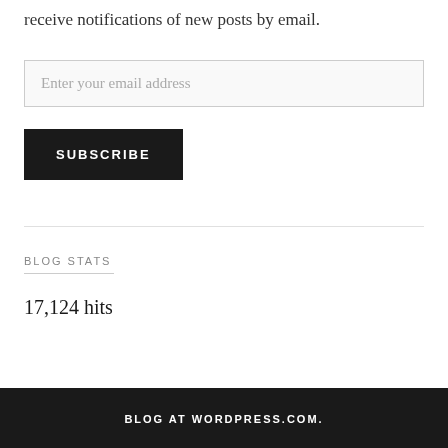receive notifications of new posts by email.
Enter your email address
SUBSCRIBE
BLOG STATS
17,124 hits
BLOG AT WORDPRESS.COM.